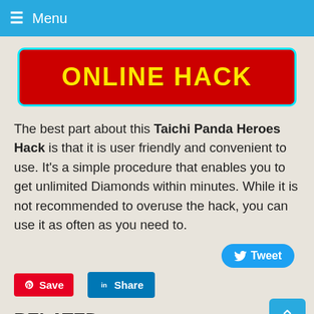≡ Menu
[Figure (other): Red button with cyan border reading ONLINE HACK in bold yellow text]
The best part about this Taichi Panda Heroes Hack is that it is user friendly and convenient to use. It's a simple procedure that enables you to get unlimited Diamonds within minutes. While it is not recommended to overuse the hack, you can use it as often as you need to.
[Figure (other): Tweet button (blue rounded), Save button (red, Pinterest), Share button (blue, LinkedIn)]
RELATED
SUPERCITY HACK – GET SUPERCITY SUPERBUCKS FOR FREE